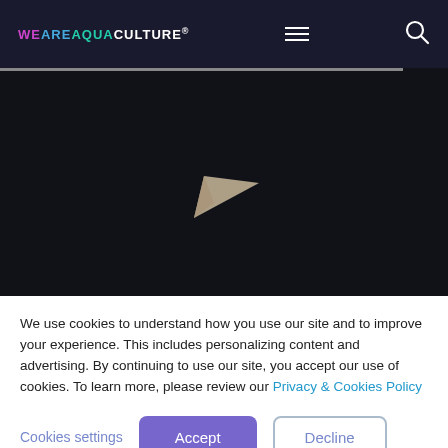WEAREAQUACULTURE®
[Figure (screenshot): Dark hero section with paper airplane icon and partial headline text 'Get the latest stories into']
Get the latest stories into
We use cookies to understand how you use our site and to improve your experience. This includes personalizing content and advertising. By continuing to use our site, you accept our use of cookies. To learn more, please review our Privacy & Cookies Policy
Cookies settings | Accept | Decline